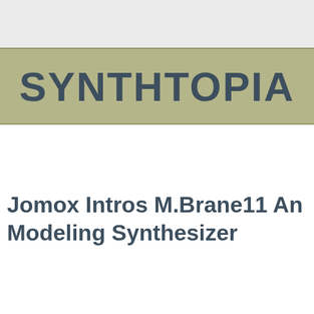SYNTHTOPIA
Jomox Intros M.Brane11 Analog Membrane Modeling Synthesizer